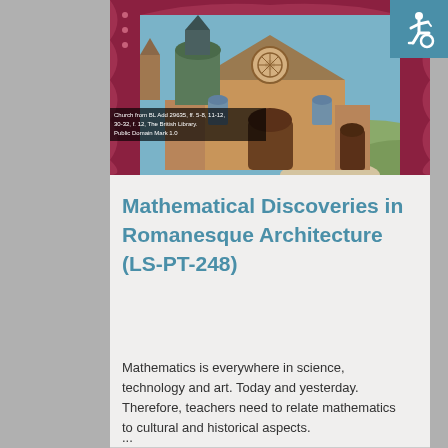[Figure (illustration): Medieval illuminated manuscript illustration of a church building with Romanesque architectural features, decorative border in red/maroon, blue sky background, green hills. Part of British Library collection.]
Church from BL Add 29635, ff. 5-8, 11-12, 30-32, f. 12, The British Library. Public Domain Mark 1.0
Mathematical Discoveries in Romanesque Architecture (LS-PT-248)
Mathematics is everywhere in science, technology and art. Today and yesterday. Therefore, teachers need to relate mathematics to cultural and historical aspects.
...